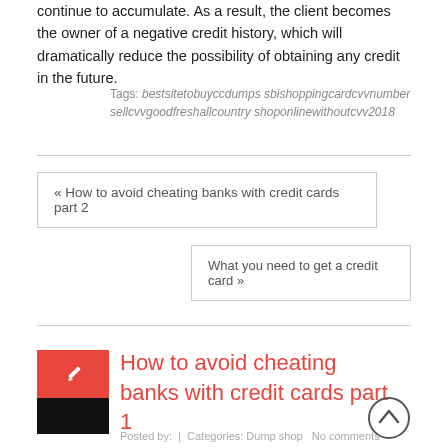continue to accumulate. As a result, the client becomes the owner of a negative credit history, which will dramatically reduce the possibility of obtaining any credit in the future.
Tags: bestsitetobuyccdumps sbishoppingcardcvvnumber sellcvvgoodfreshallcountry shoponlinewithoutcvv2018
« How to avoid cheating banks with credit cards part 2
What you need to get a credit card »
How to avoid cheating banks with credit cards part 1
Posted by: | Categories: Dump shop No comments